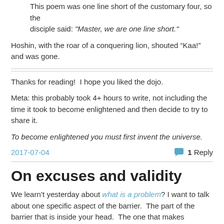This poem was one line short of the customary four, so the disciple said: "Master, we are one line short."
Hoshin, with the roar of a conquering lion, shouted “Kaa!” and was gone.
Thanks for reading!  I hope you liked the dojo.
Meta: this probably took 4+ hours to write, not including the time it took to become enlightened and then decide to try to share it.
To become enlightened you must first invent the universe.
2017-07-04
1 Reply
On excuses and validity
We learn’t yesterday about what is a problem? I want to talk about one specific aspect of the barrier.  The part of the barrier that is inside your head.  The one that makes excuses.